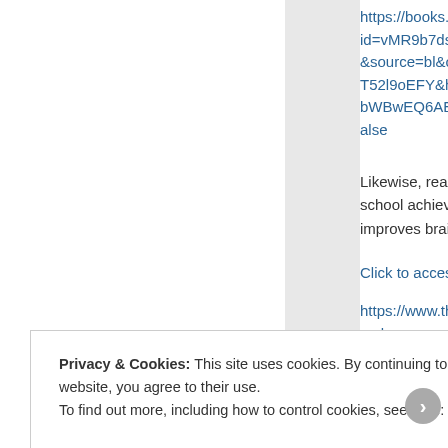https://books.goo id=vMR9b7dshrQC &source=bl&ots=7 T52l9oEFY&hl=en& bWBwEQ6AElYzAL# alse
Likewise, reading p school achievemen improves brain fun
Click to access SLN
https://www.thegu make-you-smarter
Privacy & Cookies: This site uses cookies. By continuing to use this website, you agree to their use.
To find out more, including how to control cookies, see here: Cookie Policy
Close and accept